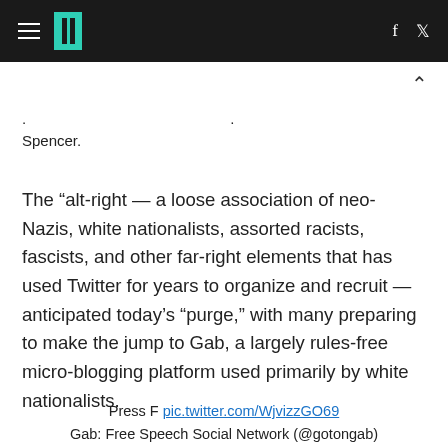HuffPost [logo] | f [twitter]
. [partial line] . [link] Spencer.
The “alt-right — a loose association of neo-Nazis, white nationalists, assorted racists, fascists, and other far-right elements that has used Twitter for years to organize and recruit — anticipated today’s “purge,” with many preparing to make the jump to Gab, a largely rules-free micro-blogging platform used primarily by white nationalists.
Press F pic.twitter.com/WjvizzGO69
Gab: Free Speech Social Network (@gotongab)